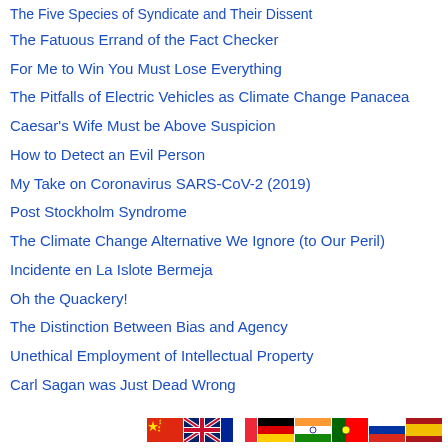The Five Species of Syndicate and Their Dissent
The Fatuous Errand of the Fact Checker
For Me to Win You Must Lose Everything
The Pitfalls of Electric Vehicles as Climate Change Panacea
Caesar's Wife Must be Above Suspicion
How to Detect an Evil Person
My Take on Coronavirus SARS-CoV-2 (2019)
Post Stockholm Syndrome
The Climate Change Alternative We Ignore (to Our Peril)
Incidente en La Islote Bermeja
Oh the Quackery!
The Distinction Between Bias and Agency
Unethical Employment of Intellectual Property
Carl Sagan was Just Dead Wrong
[Figure (illustration): Row of country flag icons: China, UK, France, Germany, India, Portugal, Russia, Spain]